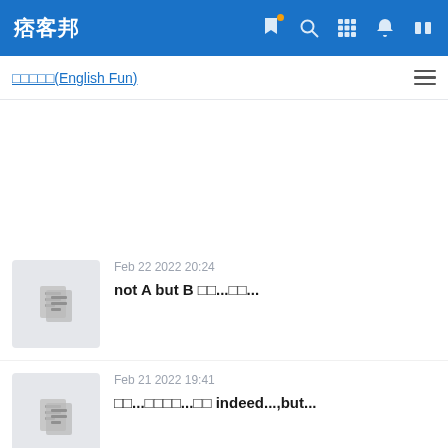痞客邦
□□□□□(English Fun)
Feb 22 2022 20:24
not A but B □□...□□...
Feb 21 2022 19:41
□□...□□□□...□□ indeed...,but...